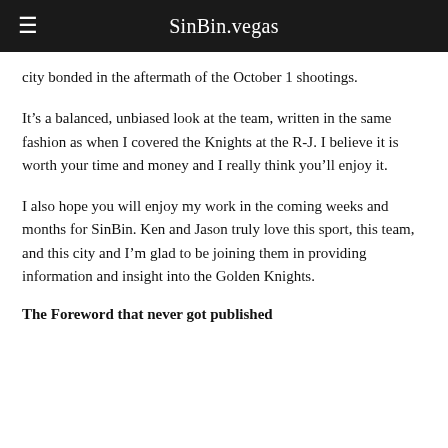SinBin.vegas
city bonded in the aftermath of the October 1 shootings.
It’s a balanced, unbiased look at the team, written in the same fashion as when I covered the Knights at the R-J. I believe it is worth your time and money and I really think you’ll enjoy it.
I also hope you will enjoy my work in the coming weeks and months for SinBin. Ken and Jason truly love this sport, this team, and this city and I’m glad to be joining them in providing information and insight into the Golden Knights.
The Foreword that never got published